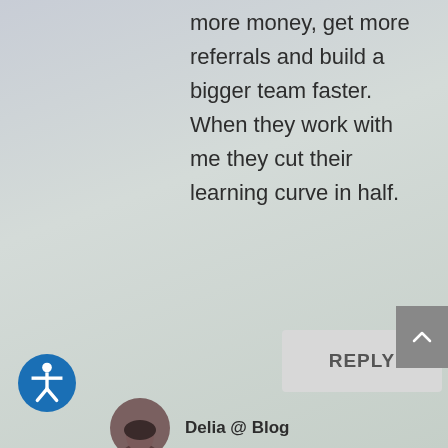more money, get more referrals and build a bigger team faster. When they work with me they cut their learning curve in half.
REPLY
Delia @ Blog